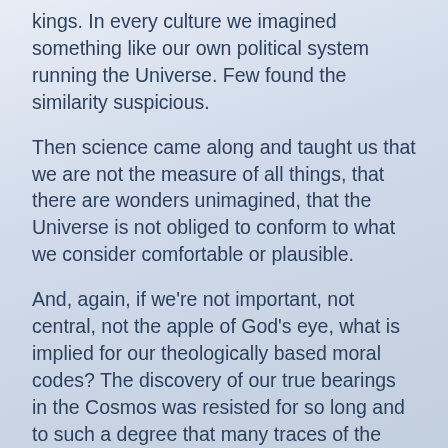kings. In every culture we imagined something like our own political system running the Universe. Few found the similarity suspicious.
Then science came along and taught us that we are not the measure of all things, that there are wonders unimagined, that the Universe is not obliged to conform to what we consider comfortable or plausible.
And, again, if we're not important, not central, not the apple of God's eye, what is implied for our theologically based moral codes? The discovery of our true bearings in the Cosmos was resisted for so long and to such a degree that many traces of the debate remain, sometimes with the motives of the geocentrists laid bare.
So, what do we really want from philosophy and religion? Palliatives? Therapy? Comfort? Do we want reassuring fables or an understanding of our actual